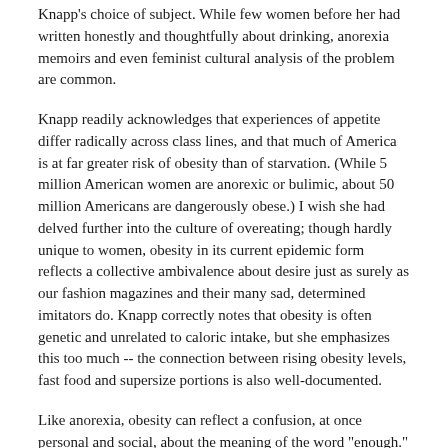Knapp's choice of subject. While few women before her had written honestly and thoughtfully about drinking, anorexia memoirs and even feminist cultural analysis of the problem are common.
Knapp readily acknowledges that experiences of appetite differ radically across class lines, and that much of America is at far greater risk of obesity than of starvation. (While 5 million American women are anorexic or bulimic, about 50 million Americans are dangerously obese.) I wish she had delved further into the culture of overeating; though hardly unique to women, obesity in its current epidemic form reflects a collective ambivalence about desire just as surely as our fashion magazines and their many sad, determined imitators do. Knapp correctly notes that obesity is often genetic and unrelated to caloric intake, but she emphasizes this too much -- the connection between rising obesity levels, fast food and supersize portions is also well-documented.
Like anorexia, obesity can reflect a confusion, at once personal and social, about the meaning of the word "enough." I recently watched a TV program featuring a woman who had undergone stomach stapling surgery -- generally a last resort in the treatment of morbid obesity, performed when a person's weight has begun to threaten her life. After the operation, the woman's doctors told her to eat only when she was hungry. She seemed